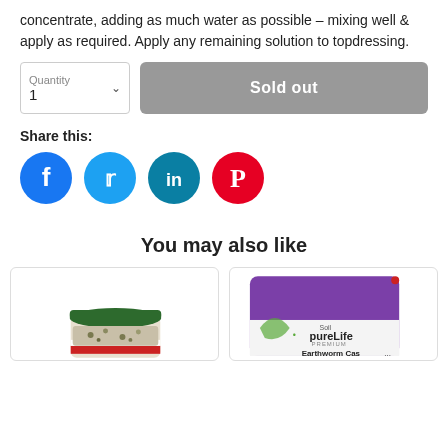concentrate, adding as much water as possible – mixing well & apply as required. Apply any remaining solution to topdressing.
[Figure (screenshot): Quantity selector dropdown showing '1' and a grey 'Sold out' button]
Share this:
[Figure (infographic): Four social media share buttons: Facebook (blue circle), Twitter (light blue circle), LinkedIn (dark teal circle), Pinterest (red circle)]
You may also like
[Figure (photo): Small jar with green lid containing seeds or granules]
[Figure (photo): PureLife Soil Premium Earthworm Castings bag, purple packaging]